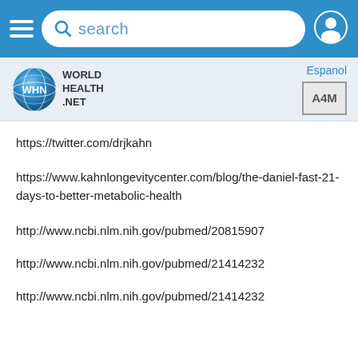[Figure (screenshot): Mobile app top navigation bar with hamburger menu, search bar, and user profile icon on blue background]
[Figure (logo): World Health Net logo with globe icon and A4M badge, with Espanol link]
https://twitter.com/drjkahn
https://www.kahnlongevitycenter.com/blog/the-daniel-fast-21-days-to-better-metabolic-health
http://www.ncbi.nlm.nih.gov/pubmed/20815907
http://www.ncbi.nlm.nih.gov/pubmed/21414232
http://www.ncbi.nlm.nih.gov/pubmed/21414232